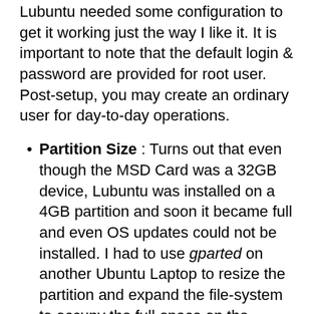Lubuntu needed some configuration to get it working just the way I like it. It is important to note that the default login & password are provided for root user. Post-setup, you may create an ordinary user for day-to-day operations.
Partition Size : Turns out that even though the MSD Card was a 32GB device, Lubuntu was installed on a 4GB partition and soon it became full and even OS updates could not be installed. I had to use gparted on another Ubuntu Laptop to resize the partition and expand the file-system to occupy the full-space on the partition.
OS Update : I connected the device to my router via Ethernet and performed an apt-get